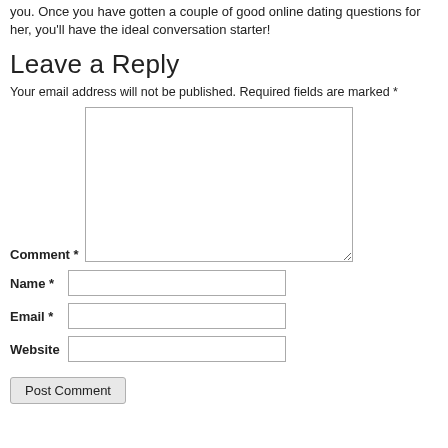you. Once you have gotten a couple of good online dating questions for her, you'll have the ideal conversation starter!
Leave a Reply
Your email address will not be published. Required fields are marked *
Comment *
Name *
Email *
Website
Post Comment